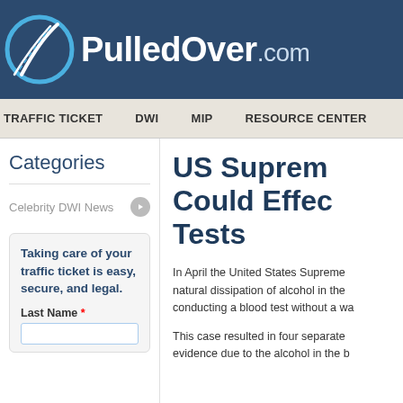[Figure (logo): PulledOver.com logo on dark blue background with road/highway icon]
TRAFFIC TICKET   DWI   MIP   RESOURCE CENTER
Categories
Celebrity DWI News
Taking care of your traffic ticket is easy, secure, and legal.
Last Name *
US Supreme Court Could Effect Tests
In April the United States Supreme Court natural dissipation of alcohol in the conducting a blood test without a wa
This case resulted in four separate evidence due to the alcohol in the b